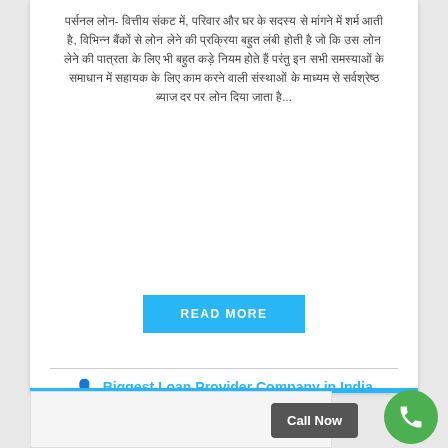पर्सनल लोन- वित्तीय संकट में, परिवार और घर के सदस्य से मांगने में शर्म आती है, विभिन्न बैंकों से लोन लेने की प्रक्रिया बहुत लंबी होती है जो कि उस लोन लेने की पात्रता के लिए भी बहुत कड़े नियम होते हैं परंतु इन सभी समस्याओं के समाधान में सहायक के लिए काम करने वाली संस्थाओं के माध्यम से सर्वश्रेष्ठ ब्याज दर पर लोन दिया जाता है...
READ MORE
Biggest Loan Provider Company in India
March 9, 2021  0